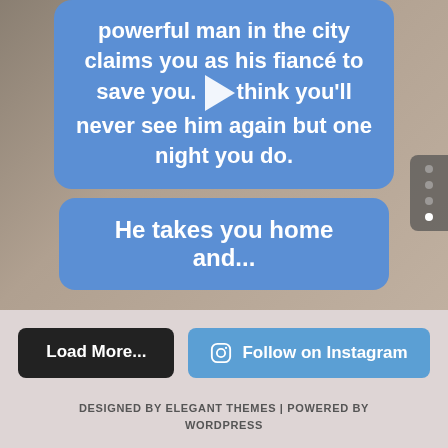[Figure (screenshot): Instagram post screenshot showing blue speech bubbles with white bold text over a blurry background. Text reads: 'powerful man in the city claims you as his fiancé to save you. You think you'll never see him again but one night you do.' and 'He takes you home and...' with a play button overlay. Navigation dots visible on right side.]
Load More...
Follow on Instagram
DESIGNED BY ELEGANT THEMES | POWERED BY WORDPRESS